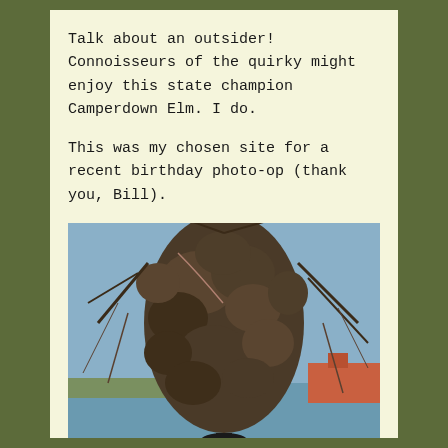Talk about an outsider! Connoisseurs of the quirky might enjoy this state champion Camperdown Elm. I do.
This was my chosen site for a recent birthday photo-op (thank you, Bill).
[Figure (photo): A woman with blonde hair wearing a black hat stands at the base of a massive, gnarled Camperdown Elm tree with twisted, bulbous trunk and drooping bare branches. Water and buildings visible in the background.]